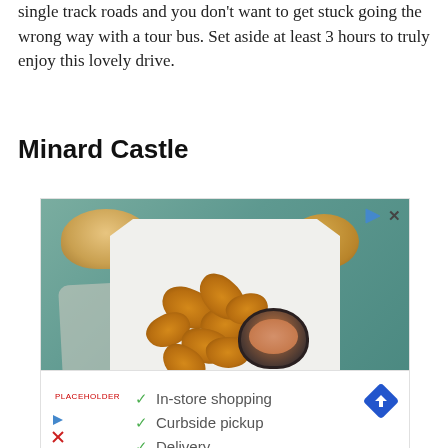single track roads and you don't want to get stuck going the wrong way with a tour bus. Set aside at least 3 hours to truly enjoy this lovely drive.
Minard Castle
[Figure (photo): Advertisement showing fried chicken nuggets on a white octagonal plate with dipping sauce, bread rolls in background, on a teal wooden table. Ad for 'Podemos Entregar' with orange circular logo.]
[Figure (screenshot): Second advertisement showing in-store shopping, curbside pickup, and delivery options with green checkmarks, blue diamond arrow icon, small red logo, and ad controls.]